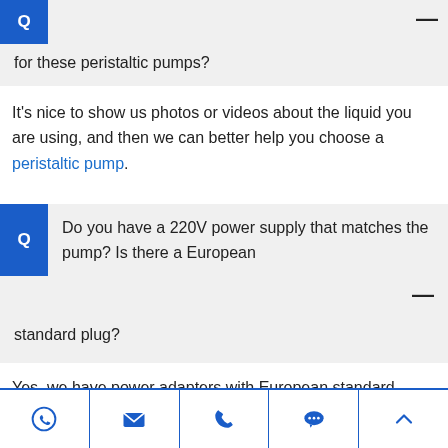for these peristaltic pumps?
It's nice to show us photos or videos about the liquid you are using, and then we can better help you choose a peristaltic pump.
Q  Do you have a 220V power supply that matches the pump? Is there a European standard plug?
Yes, we have power adapters with European standard, national standard, and American standard to choose from